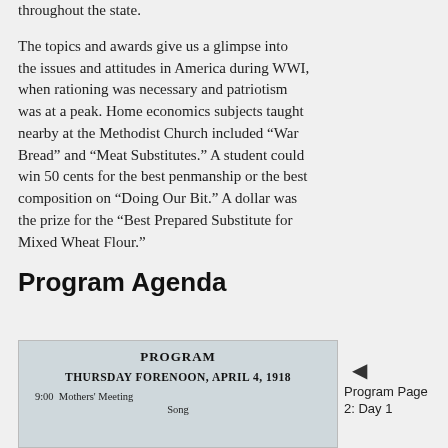throughout the state.
The topics and awards give us a glimpse into the issues and attitudes in America during WWI, when rationing was necessary and patriotism was at a peak. Home economics subjects taught nearby at the Methodist Church included “War Bread” and “Meat Substitutes.” A student could win 50 cents for the best penmanship or the best composition on “Doing Our Bit.” A dollar was the prize for the “Best Prepared Substitute for Mixed Wheat Flour.”
Program Agenda
[Figure (photo): A historical program document titled PROGRAM, THURSDAY FORENOON, APRIL 4, 1918, with entries including 9:00 Mothers' Meeting and Song]
Program Page 2: Day 1